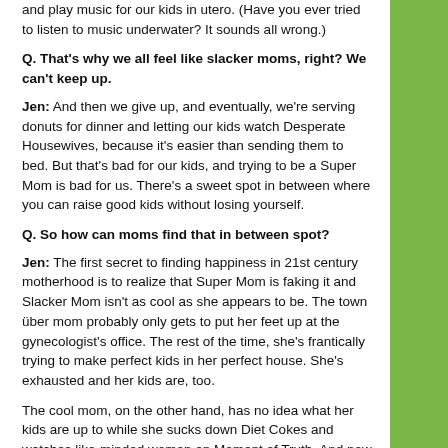and play music for our kids in utero. (Have you ever tried to listen to music underwater? It sounds all wrong.)
Q. That's why we all feel like slacker moms, right? We can't keep up.
Jen: And then we give up, and eventually, we're serving donuts for dinner and letting our kids watch Desperate Housewives, because it's easier than sending them to bed. But that's bad for our kids, and trying to be a Super Mom is bad for us. There's a sweet spot in between where you can raise good kids without losing yourself.
Q. So how can moms find that in between spot?
Jen: The first secret to finding happiness in 21st century motherhood is to realize that Super Mom is faking it and Slacker Mom isn't as cool as she appears to be. The town über mom probably only gets to put her feet up at the gynecologist's office. The rest of the time, she's frantically trying to make perfect kids in her perfect house. She's exhausted and her kids are, too.
The cool mom, on the other hand, has no idea what her kids are up to while she sucks down Diet Cokes and watches like-minded women on Moment of Truth. And now that there are web